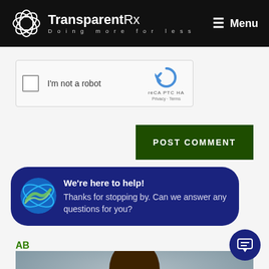TransparentRx — Doing more for less | Menu
[Figure (screenshot): reCAPTCHA widget with checkbox and 'I'm not a robot' label, showing reCAPTCHA logo and Privacy/Terms links]
POST COMMENT
[Figure (infographic): Dark blue chat popup with TransparentRx logo avatar, heading 'We're here to help!' and message 'Thanks for stopping by. Can we answer any questions for you?']
AB
[Figure (photo): Partial profile photo of a person with short hair against a grey background]